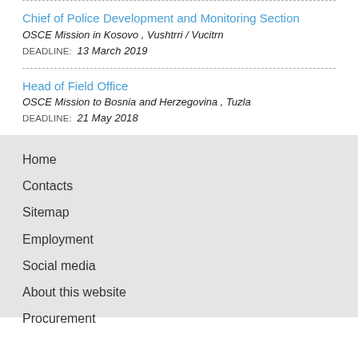Chief of Police Development and Monitoring Section
OSCE Mission in Kosovo , Vushtrri / Vucitrn
DEADLINE:  13 March 2019
Head of Field Office
OSCE Mission to Bosnia and Herzegovina , Tuzla
DEADLINE:  21 May 2018
Home
Contacts
Sitemap
Employment
Social media
About this website
Procurement